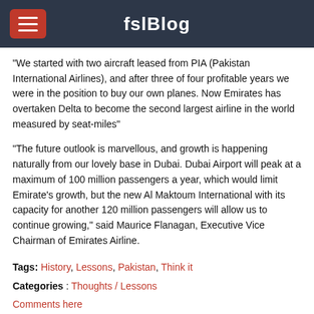fslBlog
“We started with two aircraft leased from PIA (Pakistan International Airlines), and after three of four profitable years we were in the position to buy our own planes. Now Emirates has overtaken Delta to become the second largest airline in the world measured by seat-miles”
“The future outlook is marvellous, and growth is happening naturally from our lovely base in Dubai. Dubai Airport will peak at a maximum of 100 million passengers a year, which would limit Emirate’s growth, but the new Al Maktoum International with its capacity for another 120 million passengers will allow us to continue growing,” said Maurice Flanagan, Executive Vice Chairman of Emirates Airline.
Tags: History, Lessons, Pakistan, Think it
Categories : Thoughts / Lessons
Comments here
Likes (11099)    Dislikes (110)
We uses cookies to provide you best experience. By continuing, you are agreeing to our use of cookies. I understood